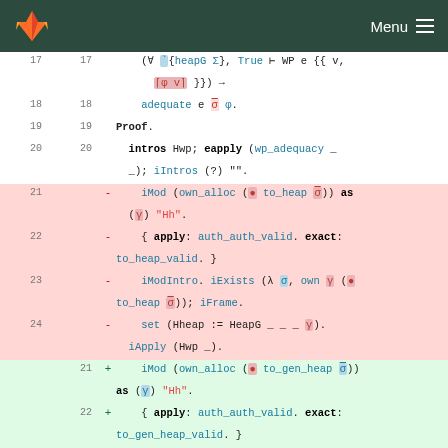GitLab logo | Menu
[Figure (screenshot): Code diff view showing Coq/Iris proof code with removed and added lines. Lines 17-20 are context, lines 21-24 are removed (red background), lines 21-23+ are added (green background).]